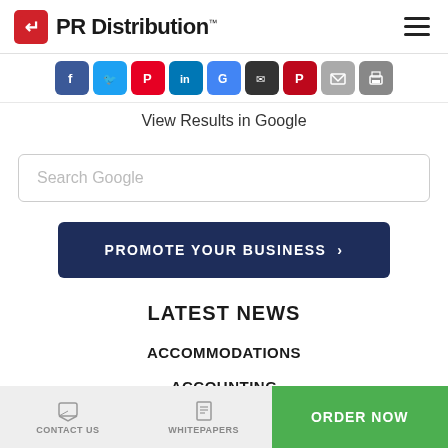PR Distribution
[Figure (screenshot): Row of social media sharing icons: Facebook, Twitter, Pinterest, LinkedIn, Google, another social icon, Pinterest (red), email, print]
View Results in Google
[Figure (screenshot): Search Google input box]
[Figure (screenshot): PROMOTE YOUR BUSINESS button with right arrow]
LATEST NEWS
ACCOMMODATIONS
ACCOUNTING
CONTACT US   WHITEPAPERS   ORDER NOW